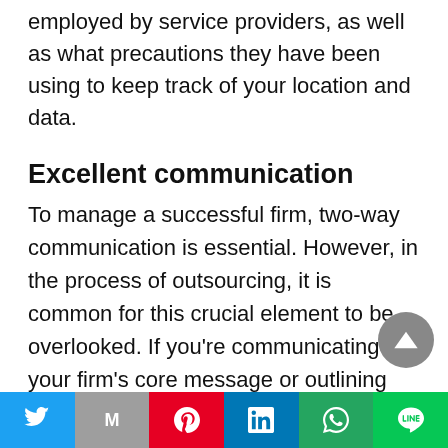employed by service providers, as well as what precautions they have been using to keep track of your location and data.
Excellent communication
To manage a successful firm, two-way communication is essential. However, in the process of outsourcing, it is common for this crucial element to be overlooked. If you're communicating your firm's core message or outlining your goals, you must be crystal clear in the communication. Once your communication has been received, you should be prepared to answer any questions